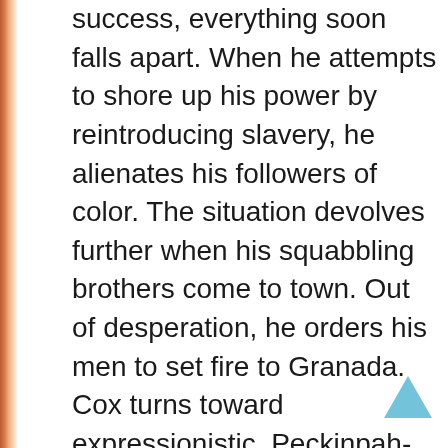success, everything soon falls apart. When he attempts to shore up his power by reintroducing slavery, he alienates his followers of color. The situation devolves further when his squabbling brothers come to town. Out of desperation, he orders his men to set fire to Granada. Cox turns toward expressionistic, Peckinpah-like violence at this juncture as the townspeople fight back. One by one, Walker's men are shot, stabbed, and trampled as cinematographer David Bridges bathes the melee in shades of crimson. By 1860, Walker, who had bolted for Honduras, would end up dead